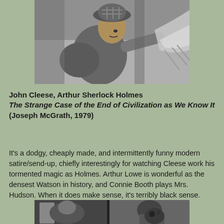[Figure (photo): Black and white photo of John Cleese as Arthur Sherlock Holmes, wearing a checked deerstalker hat and jacket, handling some fabric or material, looking sideways.]
John Cleese, Arthur Sherlock Holmes
The Strange Case of the End of Civilization as We Know It
(Joseph McGrath, 1979)
It's a dodgy, cheaply made, and intermittently funny modern satire/send-up, chiefly interestingly for watching Cleese work his tormented magic as Holmes. Arthur Lowe is wonderful as the densest Watson in history, and Connie Booth plays Mrs. Hudson. When it does make sense, it's terribly black sense.
[Figure (photo): Black and white photo partially visible at bottom, showing two figures, one appears to be in period clothing.]